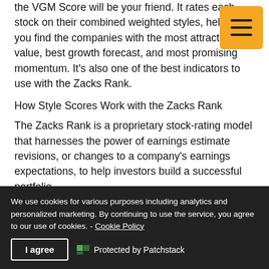the VGM Score will be your friend. It rates each stock on their combined weighted styles, helping you find the companies with the most attractive value, best growth forecast, and most promising momentum. It's also one of the best indicators to use with the Zacks Rank.
How Style Scores Work with the Zacks Rank
The Zacks Rank is a proprietary stock-rating model that harnesses the power of earnings estimate revisions, or changes to a company's earnings expectations, to help investors build a successful portfolio.
It's highly successful, with #1 (Strong Buy) stocks
We use cookies for various purposes including analytics and personalized marketing. By continuing to use the service, you agree to our use of cookies. - Cookie Policy
I agree   Protected by Patchstack